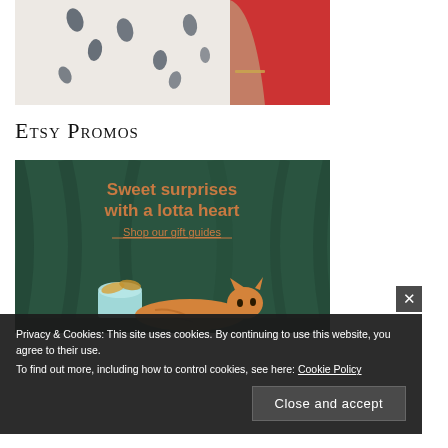[Figure (photo): Partial view of a woman wearing a white floral-patterned dress against a red background, with visible tattoos on the arm]
Etsy Promos
[Figure (photo): Etsy promotional advertisement on a dark green background with orange text reading 'Sweet surprises with a lotta heart' and a sublink 'Shop our gift guides', with an orange cat and cookie tin in the lower portion]
Privacy & Cookies: This site uses cookies. By continuing to use this website, you agree to their use.
To find out more, including how to control cookies, see here: Cookie Policy
Close and accept